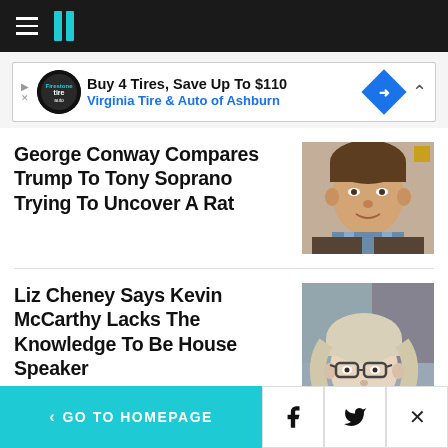HuffPost navigation bar with hamburger menu and logo
[Figure (screenshot): Advertisement banner: Buy 4 Tires, Save Up To $110 – Virginia Tire & Auto of Ashburn]
George Conway Compares Trump To Tony Soprano Trying To Uncover A Rat
[Figure (photo): Photo of George Conway]
Liz Cheney Says Kevin McCarthy Lacks The Knowledge To Be House Speaker
[Figure (photo): Photo of Liz Cheney]
GO TO HOMEPAGE | Facebook | Twitter | Close